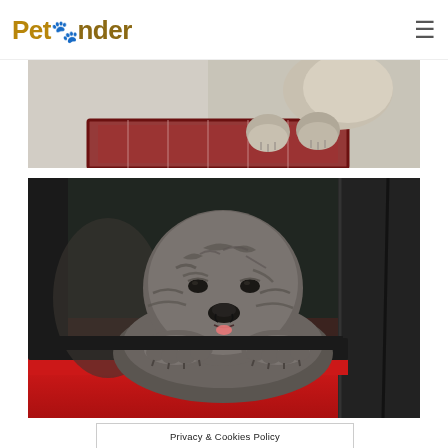PetPonder
[Figure (photo): Partial view of a puppy with paws visible on a colorful mat/floor, cropped at the top of the page]
[Figure (photo): A grey/blue Shar Pei puppy with wrinkled face peering out of an open red car window, front paws resting on the window sill]
Privacy & Cookies Policy